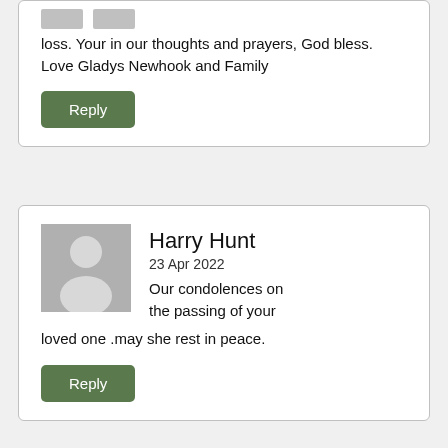loss. Your in our thoughts and prayers, God bless. Love Gladys Newhook and Family
Reply
Harry Hunt
23 Apr 2022
Our condolences on the passing of your loved one .may she rest in peace.
Reply